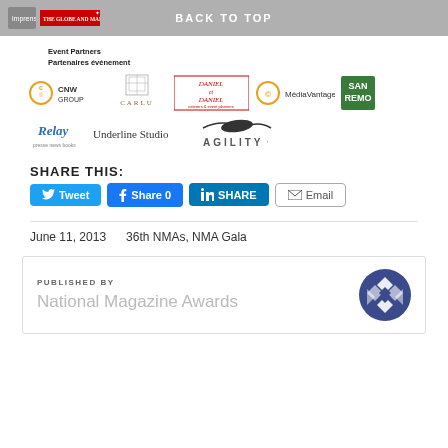BACK TO TOP
Event Partners
Partenaires événement
[Figure (logo): Row of event partner logos: CNW Group, Carlu, Daniel et Daniel, MédiaVantage, San Remo, Relay, Underline Studio, Agility]
SHARE THIS:
[Figure (infographic): Social share buttons: Tweet, Share 0 (Facebook), SHARE (LinkedIn), Email]
June 11, 2013    36th NMAs, NMA Gala
PUBLISHED BY
National Magazine Awards